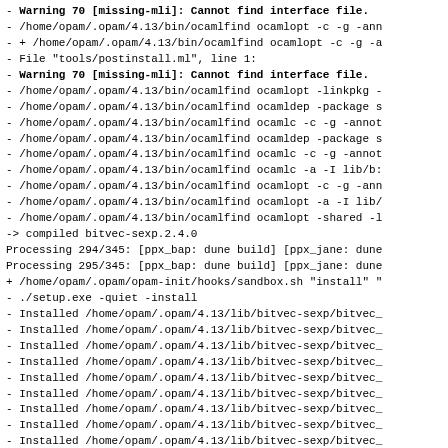- Warning 70 [missing-mli]: Cannot find interface file.
- /home/opam/.opam/4.13/bin/ocamlfind ocamlopt -c -g -ann
- + /home/opam/.opam/4.13/bin/ocamlfind ocamlopt -c -g -a
- File "tools/postinstall.ml", line 1:
- Warning 70 [missing-mli]: Cannot find interface file.
- /home/opam/.opam/4.13/bin/ocamlfind ocamlopt -linkpkg -
- /home/opam/.opam/4.13/bin/ocamlfind ocamldep -package s
- /home/opam/.opam/4.13/bin/ocamlfind ocamlc -c -g -annot
- /home/opam/.opam/4.13/bin/ocamlfind ocamldep -package s
- /home/opam/.opam/4.13/bin/ocamlfind ocamlc -c -g -annot
- /home/opam/.opam/4.13/bin/ocamlfind ocamlc -a -I lib/b:
- /home/opam/.opam/4.13/bin/ocamlfind ocamlopt -c -g -ann
- /home/opam/.opam/4.13/bin/ocamlfind ocamlopt -a -I lib/
- /home/opam/.opam/4.13/bin/ocamlfind ocamlopt -shared -l
-> compiled  bitvec-sexp.2.4.0
Processing 294/345: [ppx_bap: dune build] [ppx_jane: dune
Processing 295/345: [ppx_bap: dune build] [ppx_jane: dune
+ /home/opam/.opam/opam-init/hooks/sandbox.sh "install" "
- ./setup.exe -quiet -install
- Installed /home/opam/.opam/4.13/lib/bitvec-sexp/bitvec_
- Installed /home/opam/.opam/4.13/lib/bitvec-sexp/bitvec_
- Installed /home/opam/.opam/4.13/lib/bitvec-sexp/bitvec_
- Installed /home/opam/.opam/4.13/lib/bitvec-sexp/bitvec_
- Installed /home/opam/.opam/4.13/lib/bitvec-sexp/bitvec_
- Installed /home/opam/.opam/4.13/lib/bitvec-sexp/bitvec_
- Installed /home/opam/.opam/4.13/lib/bitvec-sexp/bitvec_
- Installed /home/opam/.opam/4.13/lib/bitvec-sexp/bitvec_
- Installed /home/opam/.opam/4.13/lib/bitvec-sexp/bitvec_
- Installed /home/opam/.opam/4.13/lib/bitvec-sexp/bitvec_
- Installed /home/opam/.opam/4.13/lib/bitvec-sexp/META